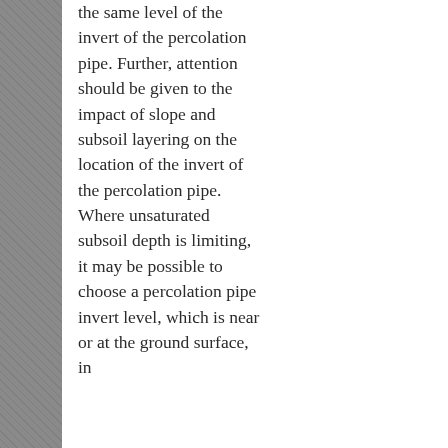the same level of the invert of the percolation pipe. Further, attention should be given to the impact of slope and subsoil layering on the location of the invert of the percolation pipe. Where unsaturated subsoil depth is limiting, it may be possible to choose a percolation pipe invert level, which is near or at the ground surface, in